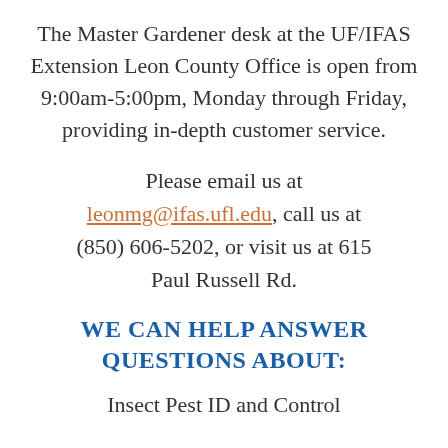The Master Gardener desk at the UF/IFAS Extension Leon County Office is open from 9:00am-5:00pm, Monday through Friday, providing in-depth customer service.
Please email us at leonmg@ifas.ufl.edu, call us at (850) 606-5202, or visit us at 615 Paul Russell Rd.
WE CAN HELP ANSWER QUESTIONS ABOUT:
Insect Pest ID and Control